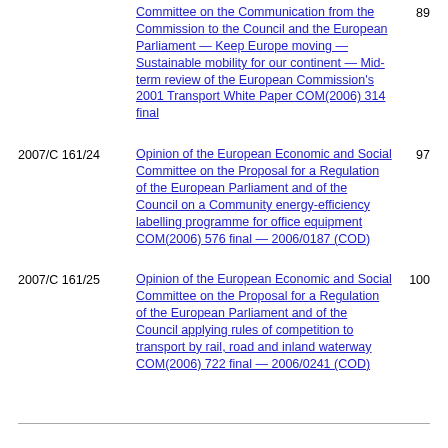Committee on the Communication from the Commission to the Council and the European Parliament — Keep Europe moving — Sustainable mobility for our continent — Mid-term review of the European Commission's 2001 Transport White Paper COM(2006) 314 final   89
2007/C 161/24  Opinion of the European Economic and Social Committee on the Proposal for a Regulation of the European Parliament and of the Council on a Community energy-efficiency labelling programme for office equipment COM(2006) 576 final — 2006/0187 (COD)   97
2007/C 161/25  Opinion of the European Economic and Social Committee on the Proposal for a Regulation of the European Parliament and of the Council applying rules of competition to transport by rail, road and inland waterway COM(2006) 722 final — 2006/0241 (COD)   100